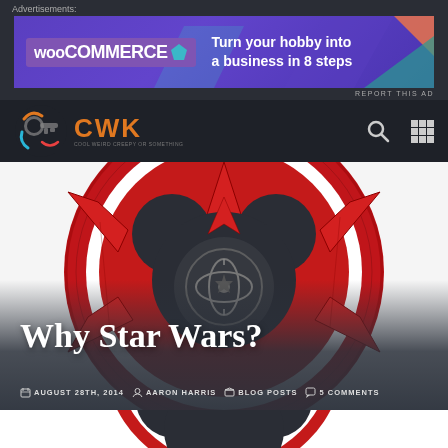Advertisements
[Figure (screenshot): WooCommerce advertisement banner: 'Turn your hobby into a business in 8 steps' with colorful geometric shapes on dark purple background]
REPORT THIS AD
[Figure (logo): CWK website logo with colorful icon and orange CWK text on dark navigation bar, with search and grid icons]
[Figure (illustration): Star Wars / Disney mashup illustration: Mickey Mouse silhouette overlaid on a red and black Rebel Alliance symbol with Jedi Order symbol]
Why Star Wars?
AUGUST 28TH, 2014   AARON HARRIS   BLOG POSTS   5 COMMENTS